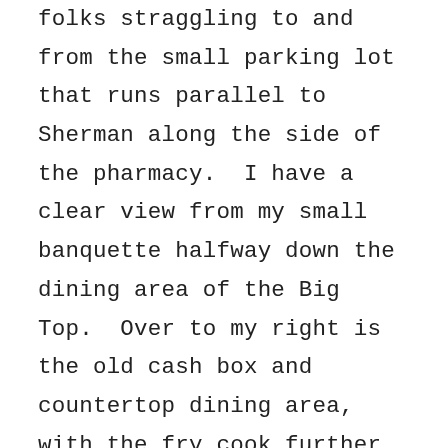folks straggling to and from the small parking lot that runs parallel to Sherman along the side of the pharmacy. I have a clear view from my small banquette halfway down the dining area of the Big Top. Over to my right is the old cash box and countertop dining area, with the fry cook further back. He is toiling away now scraping with a stone at the